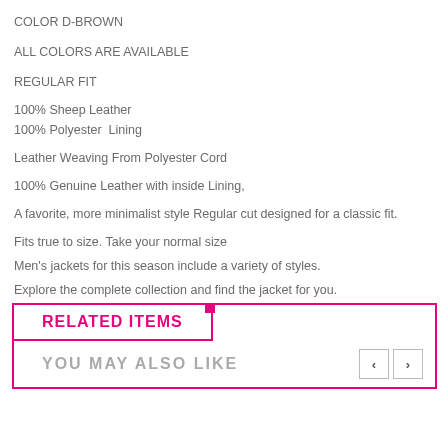COLOR D-BROWN
ALL COLORS ARE AVAILABLE
REGULAR FIT
100% Sheep Leather
100% Polyester  Lining
Leather Weaving From Polyester Cord
100% Genuine Leather with inside Lining,
A favorite, more minimalist style Regular cut designed for a classic fit.
Fits true to size. Take your normal size
Men's jackets for this season include a variety of styles.
Explore the complete collection and find the jacket for you.
RELATED ITEMS
YOU MAY ALSO LIKE